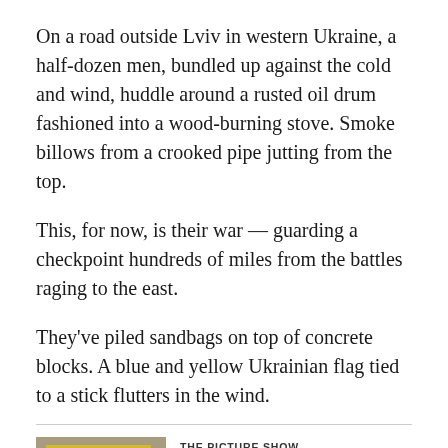On a road outside Lviv in western Ukraine, a half-dozen men, bundled up against the cold and wind, huddle around a rusted oil drum fashioned into a wood-burning stove. Smoke billows from a crooked pipe jutting from the top.
This, for now, is their war — guarding a checkpoint hundreds of miles from the battles raging to the east.
They've piled sandbags on top of concrete blocks. A blue and yellow Ukrainian flag tied to a stick flutters in the wind.
[Figure (photo): People bundled in winter clothing standing near a yellow backdrop, likely a checkpoint scene in Ukraine.]
THE PICTURE SHOW
Lviv takes in displaced Ukrainians but space and resources are strained
"This was our immediate response on the night of the